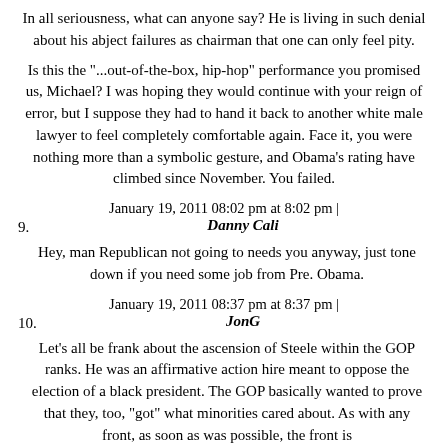In all seriousness, what can anyone say? He is living in such denial about his abject failures as chairman that one can only feel pity.
Is this the "...out-of-the-box, hip-hop" performance you promised us, Michael? I was hoping they would continue with your reign of error, but I suppose they had to hand it back to another white male lawyer to feel completely comfortable again. Face it, you were nothing more than a symbolic gesture, and Obama's rating have climbed since November. You failed.
January 19, 2011 08:02 pm at 8:02 pm |
9. Danny Cali
Hey, man Republican not going to needs you anyway, just tone down if you need some job from Pre. Obama.
January 19, 2011 08:37 pm at 8:37 pm |
10. JonG
Let's all be frank about the ascension of Steele within the GOP ranks. He was an affirmative action hire meant to oppose the election of a black president. The GOP basically wanted to prove that they, too, "got" what minorities cared about. As with any front, as soon as was possible, the front is